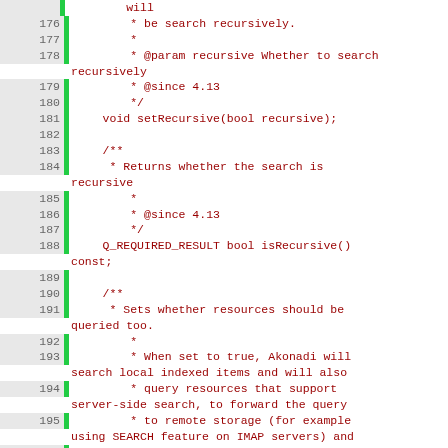Code listing lines 176-199 showing C++ API documentation comments for setRecursive and isRecursive methods and resource querying documentation.